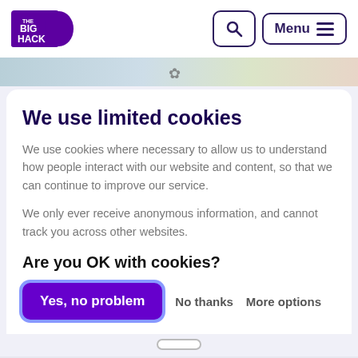THE BIG HACK — Search | Menu
[Figure (screenshot): Partial colorful image strip visible behind the cookie consent modal]
We use limited cookies
We use cookies where necessary to allow us to understand how people interact with our website and content, so that we can continue to improve our service.
We only ever receive anonymous information, and cannot track you across other websites.
Are you OK with cookies?
Yes, no problem   No thanks   More options